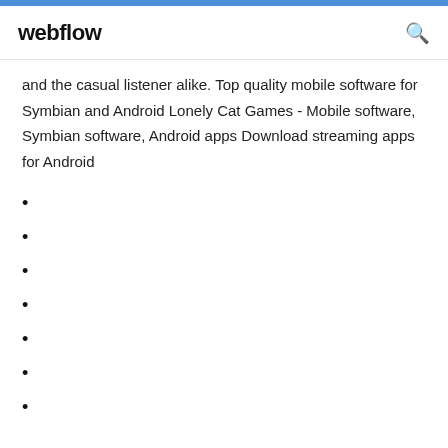webflow
and the casual listener alike. Top quality mobile software for Symbian and Android Lonely Cat Games - Mobile software, Symbian software, Android apps Download streaming apps for Android